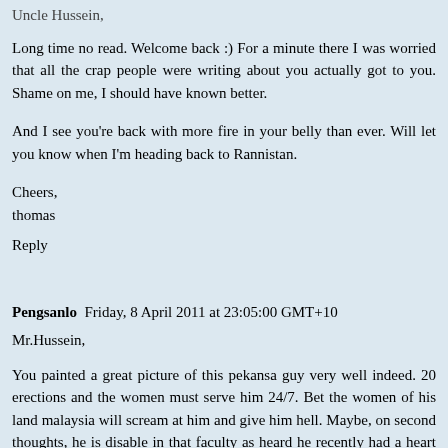Uncle Hussein,
Long time no read. Welcome back :) For a minute there I was worried that all the crap people were writing about you actually got to you. Shame on me, I should have known better.
And I see you're back with more fire in your belly than ever. Will let you know when I'm heading back to Rannistan.
Cheers,
thomas
Reply
Pengsanlo  Friday, 8 April 2011 at 23:05:00 GMT+10
Mr.Hussein,
You painted a great picture of this pekansa guy very well indeed. 20 erections and the women must serve him 24/7. Bet the women of his land malaysia will scream at him and give him hell. Maybe, on second thoughts, he is disable in that faculty as heard he recently had a heart bypass. Dont know much about medicine